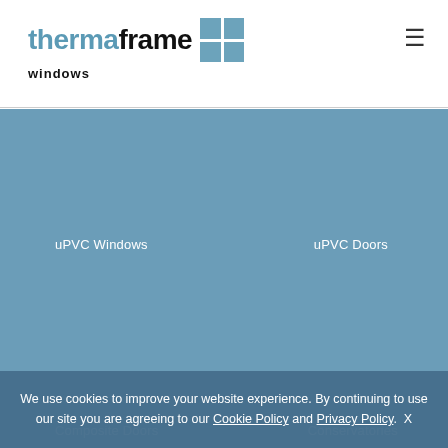[Figure (logo): Thermaframe Windows logo with blue grid icon]
[Figure (infographic): Blue grid layout showing product categories: uPVC Windows, uPVC Doors, Composite Doors, Conservatories]
uPVC Windows
uPVC Doors
Composite Doors
Conservatories
We use cookies to improve your website experience. By continuing to use our site you are agreeing to our Cookie Policy and Privacy Policy.  X